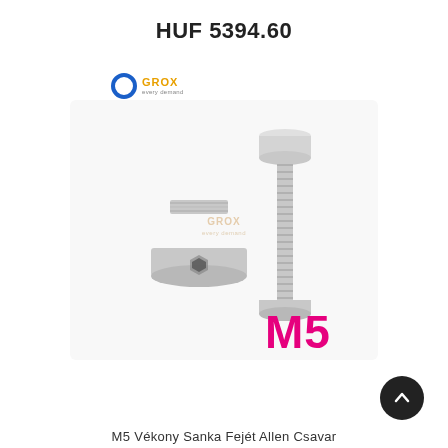HUF 5394.60
[Figure (logo): GROX brand logo with blue ring icon and orange GROX text]
[Figure (photo): Two stainless steel M5 socket cap / flat head Allen screws shown side by side. Left screw shows flat head with hexagonal socket. Right screw shows cylindrical head with threaded shank. Large pink M5 label overlaid on image. GROX watermark in center. White background.]
M5 Vékony Sanka Fejét Allen Csavar